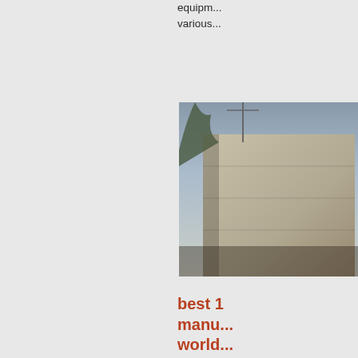equipm... various...
[Figure (photo): Outdoor photo showing a large building or industrial structure with construction equipment or scaffolding visible against a sky background]
best 1 manu- world...
Cone C... Panpar... using id... around... best-su... 10 stor... in worl... the wor...
[Figure (photo): Partial photo visible at bottom of page]